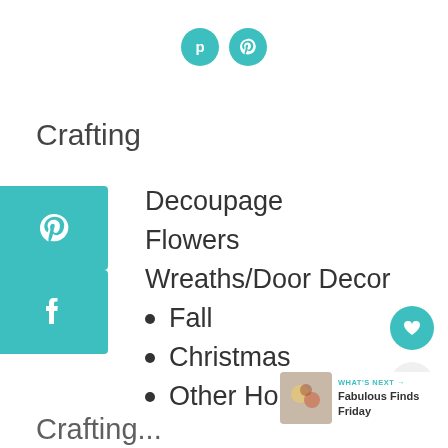[Figure (infographic): Two teal circular social media icons: Facebook (f) and Pinterest (p) centered at top]
Crafting
[Figure (infographic): Teal Pinterest share button on left side]
Decoupage
[Figure (infographic): Teal Facebook share button on left side]
Flowers
Wreaths/Door Decor
Fall
Christmas
Other Holidays
[Figure (infographic): Teal heart button and grey share button floating on right side]
[Figure (infographic): What's Next panel with thumbnail and text: Fabulous Finds Friday]
WHAT'S NEXT → Fabulous Finds Friday
Crafting (partial, bottom)